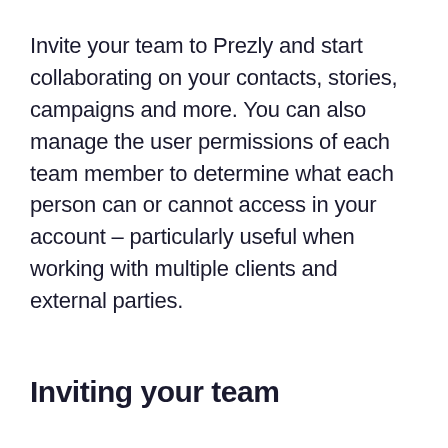Invite your team to Prezly and start collaborating on your contacts, stories, campaigns and more. You can also manage the user permissions of each team member to determine what each person can or cannot access in your account – particularly useful when working with multiple clients and external parties.
Inviting your team